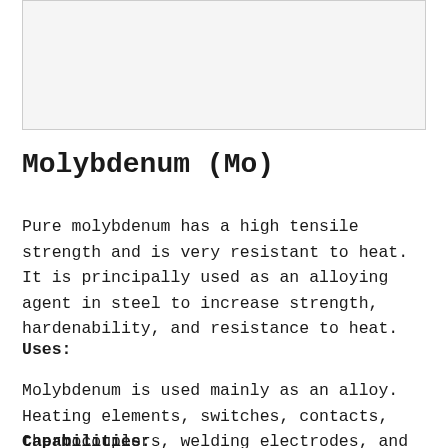[Figure (photo): Gray/light background image area placeholder at the top of the page]
Molybdenum (Mo)
Pure molybdenum has a high tensile strength and is very resistant to heat. It is principally used as an alloying agent in steel to increase strength, hardenability, and resistance to heat.
Uses:
Molybdenum is used mainly as an alloy. Heating elements, switches, contacts, thermocouplers, welding electrodes, and cathode ray tubes are made of molybdenum.
Capabilities: